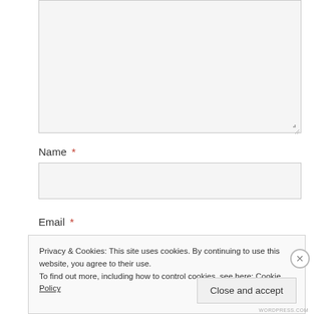[Figure (screenshot): A large empty textarea input box with a resize handle in the bottom-right corner, bordered in light gray on a light gray background.]
Name *
[Figure (screenshot): An empty text input field for Name, bordered in light gray on a light gray background.]
Email *
Privacy & Cookies: This site uses cookies. By continuing to use this website, you agree to their use. To find out more, including how to control cookies, see here: Cookie Policy
Close and accept